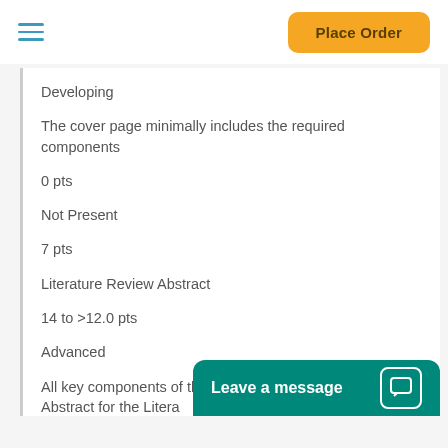Place Order
Developing
The cover page minimally includes the required components
0 pts
Not Present
7 pts
Literature Review Abstract
14 to >12.0 pts
Advanced
All key components of the Abstract are present. The Abstract for the Litera... The Abstract has a c...